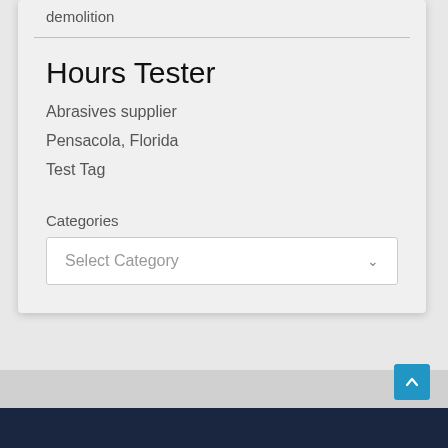demolition
Hours Tester
Abrasives supplier
Pensacola, Florida
Test Tag
Categories
Select Category